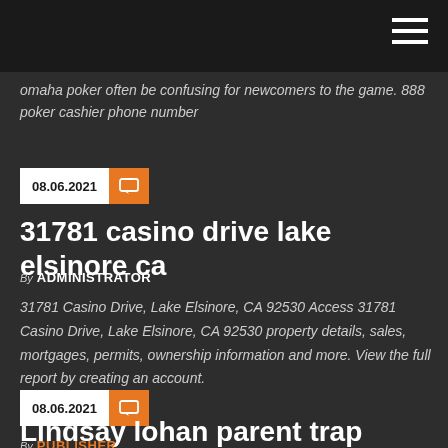omaha poker often be confusing for newcomers to the game. 888 poker cashier phone number
08.06.2021
31781 casino drive lake elsinore ca
By ADMINISTRATOR
31781 Casino Drive, Lake Elsinore, CA 92530 Access 31781 Casino Drive, Lake Elsinore, CA 92530 property details, sales, mortgages, permits, ownership information and more. View the full report by creating an account.
08.06.2021
Lindsay lohan parent trap poker
By PUBLISHER